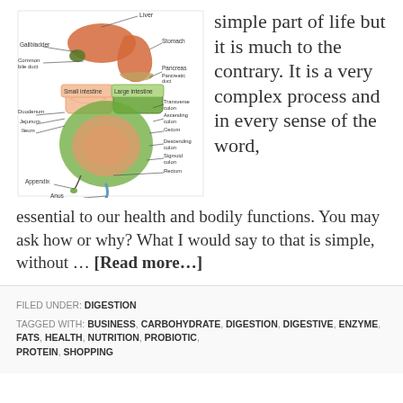[Figure (illustration): Anatomical diagram of the human digestive system labeling organs including Liver, Gallbladder, Common bile duct, Small intestine, Duodenum, Jejunum, Ileum, Appendix, Anus, Stomach, Pancreas, Pancreatic duct, Large intestine, Transverse colon, Ascending colon, Cecum, Descending colon, Sigmoid colon, Rectum]
simple part of life but it is much to the contrary. It is a very complex process and in every sense of the word, essential to our health and bodily functions. You may ask how or why? What I would say to that is simple, without … [Read more…]
FILED UNDER: DIGESTION
TAGGED WITH: BUSINESS, CARBOHYDRATE, DIGESTION, DIGESTIVE, ENZYME, FATS, HEALTH, NUTRITION, PROBIOTIC, PROTEIN, SHOPPING